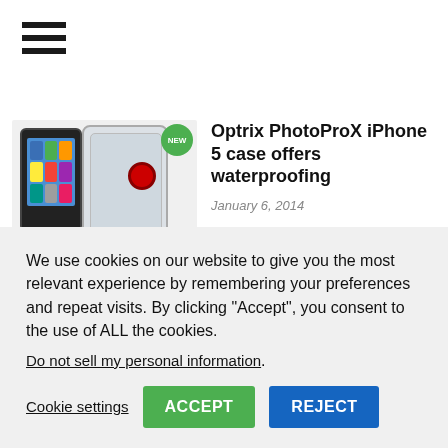[Figure (screenshot): Hamburger/menu icon with three horizontal black bars]
[Figure (photo): Product photo of Optrix PhotoProX iPhone 5 case showing smartphone, transparent waterproof case, and lens attachments. A green 'NEW' badge is in the upper right of the image.]
Optrix PhotoProX iPhone 5 case offers waterproofing
January 6, 2014
We like to bring readers details of excellent accessories for their various devices and Optrix is a name that some may recognize.
We use cookies on our website to give you the most relevant experience by remembering your preferences and repeat visits. By clicking “Accept”, you consent to the use of ALL the cookies.
Do not sell my personal information.
Cookie settings
ACCEPT
REJECT